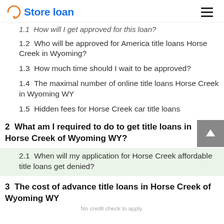Store loan
1.2  Who will be approved for America title loans Horse Creek in Wyoming?
1.3  How much time should I wait to be approved?
1.4  The maximal number of online title loans Horse Creek in Wyoming WY
1.5  Hidden fees for Horse Creek car title loans
2  What am I required to do to get title loans in Horse Creek of Wyoming WY?
2.1  When will my application for Horse Creek affordable title loans get denied?
3  The cost of advance title loans in Horse Creek of Wyoming WY